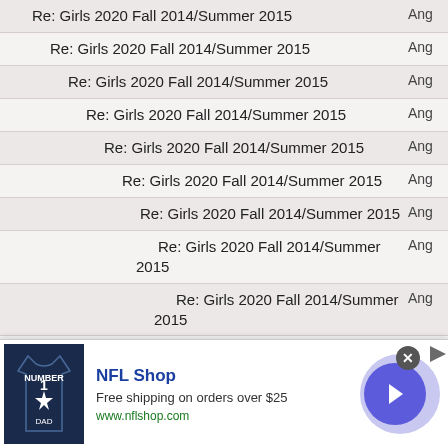Re: Girls 2020 Fall 2014/Summer 2015  Ang
Re: Girls 2020 Fall 2014/Summer 2015  Ang
Re: Girls 2020 Fall 2014/Summer 2015  Ang
Re: Girls 2020 Fall 2014/Summer 2015  Ang
Re: Girls 2020 Fall 2014/Summer 2015  Ang
Re: Girls 2020 Fall 2014/Summer 2015  Ang
Re: Girls 2020 Fall 2014/Summer 2015  Ang
Re: Girls 2020 Fall 2014/Summer 2015  Ang
Re: Girls 2020 Fall 2014/Summer 2015  Ang
Re: Girls 2020 Fall 2014/Summer 2015  Ang
[Figure (screenshot): NFL Shop advertisement banner with jersey image, NFL Shop title, free shipping text, www.nflshop.com URL, and a blue arrow button]